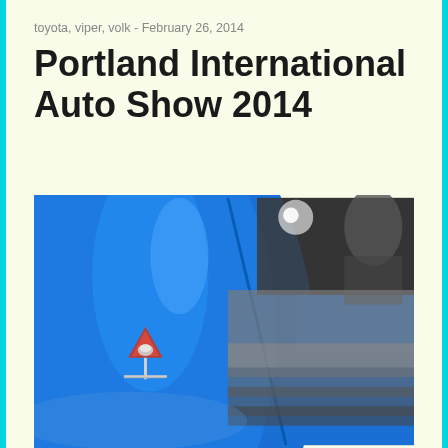toyota, viper, volk - February 26, 2014
Portland International Auto Show 2014
[Figure (photo): Close-up photograph of a blue car with a chrome Viper snake emblem/badge on the door, with blurred background showing a person and exhibition environment.]